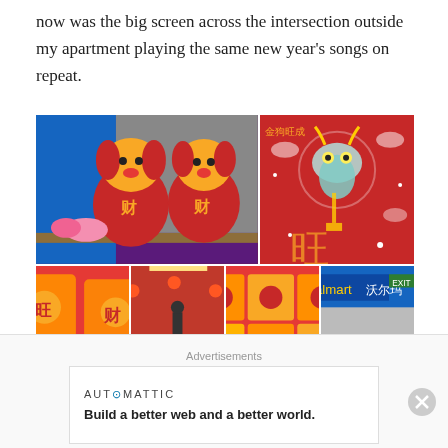now was the big screen across the intersection outside my apartment playing the same new year's songs on repeat.
[Figure (photo): A collage of 6 Chinese New Year photos: two large red dog stuffed animals with Chinese characters on chest (top-left), a red fabric with dragon/lion dance design and Chinese characters (top-right), and four smaller images showing Chinese New Year merchandise displays in what appears to be a Walmart store.]
Advertisements
AUTOMATTIC
Build a better web and a better world.